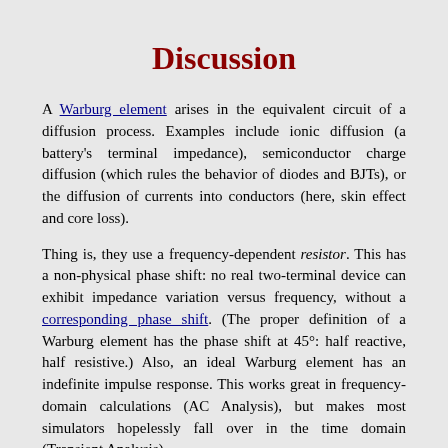Discussion
A Warburg element arises in the equivalent circuit of a diffusion process. Examples include ionic diffusion (a battery's terminal impedance), semiconductor charge diffusion (which rules the behavior of diodes and BJTs), or the diffusion of currents into conductors (here, skin effect and core loss).
Thing is, they use a frequency-dependent resistor. This has a non-physical phase shift: no real two-terminal device can exhibit impedance variation versus frequency, without a corresponding phase shift. (The proper definition of a Warburg element has the phase shift at 45°: half reactive, half resistive.) Also, an ideal Warburg element has an indefinite impulse response. This works great in frequency-domain calculations (AC Analysis), but makes most simulators hopelessly fall over in the time domain (Transient Analysis).
The problem is: to perform a Transient Analysis of a frequency-dependent resistor, the simulator has to calculate the impulse response of the network (its inverse Laplace